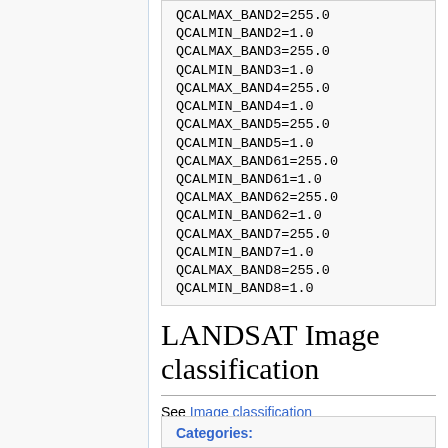QCALMAX_BAND2=255.0
QCALMIN_BAND2=1.0
QCALMAX_BAND3=255.0
QCALMIN_BAND3=1.0
QCALMAX_BAND4=255.0
QCALMIN_BAND4=1.0
QCALMAX_BAND5=255.0
QCALMIN_BAND5=1.0
QCALMAX_BAND61=255.0
QCALMIN_BAND61=1.0
QCALMAX_BAND62=255.0
QCALMIN_BAND62=1.0
QCALMAX_BAND7=255.0
QCALMIN_BAND7=1.0
QCALMAX_BAND8=255.0
QCALMIN_BAND8=1.0
LANDSAT Image classification
See Image classification
Categories: